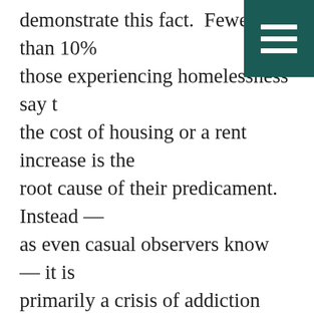demonstrate this fact. Fewer than 10% those experiencing homelessness say the cost of housing or a rent increase is the root cause of their predicament. Instead — as even casual observers know — it is primarily a crisis of addiction and mental illness. It’s time to redirect the funding already allocated to programs that address these critical needs. Rather than funding expensive housing units or buying up hotels to house the homeless, state, and local leaders should build treatment centers that have been woefully underfunded for decades.